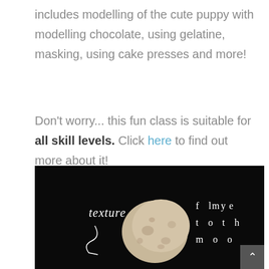includes modelling of the cute puppy with modelling chocolate, using gelatine, masking, using cake presses and more!
Don't worry... this fun class is suitable for all skill levels. Click here to find out more about it!
[Figure (other): A dark button with rounded corners containing white text 'Find out more!']
[Figure (photo): Dark background photo with a moon/rock-like object in the center, handwritten text 'texture' on the left with a decorative swirl, and spaced text 'fly me to th moo' on the right. A small grey scroll-up button is in the bottom right corner.]